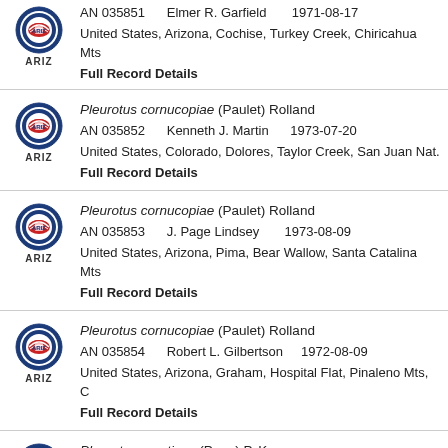AN 035851 Elmer R. Garfield 1971-08-17 United States, Arizona, Cochise, Turkey Creek, Chiricahua Mts Full Record Details
Pleurotus cornucopiae (Paulet) Rolland AN 035852 Kenneth J. Martin 1973-07-20 United States, Colorado, Dolores, Taylor Creek, San Juan Nat. Full Record Details
Pleurotus cornucopiae (Paulet) Rolland AN 035853 J. Page Lindsey 1973-08-09 United States, Arizona, Pima, Bear Wallow, Santa Catalina Mts Full Record Details
Pleurotus cornucopiae (Paulet) Rolland AN 035854 Robert L. Gilbertson 1972-08-09 United States, Arizona, Graham, Hospital Flat, Pinaleno Mts, C Full Record Details
Pleurotus serotinus (Pers.) P. Kumm. AN 035855 K.D. Butler 1937-10-21 United States, New York, Michigan Hollow, near Ithaca Full Record Details